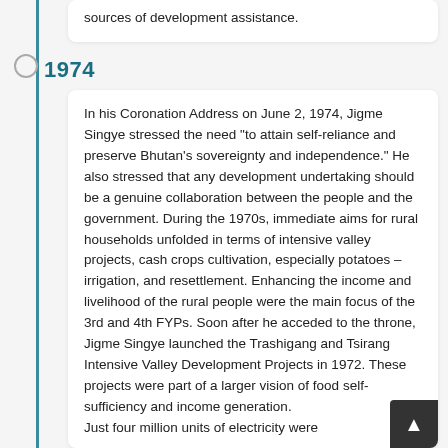sources of development assistance.
1974
In his Coronation Address on June 2, 1974, Jigme Singye stressed the need "to attain self-reliance and preserve Bhutan's sovereignty and independence." He also stressed that any development undertaking should be a genuine collaboration between the people and the government. During the 1970s, immediate aims for rural households unfolded in terms of intensive valley projects, cash crops cultivation, especially potatoes – irrigation, and resettlement. Enhancing the income and livelihood of the rural people were the main focus of the 3rd and 4th FYPs. Soon after he acceded to the throne, Jigme Singye launched the Trashigang and Tsirang Intensive Valley Development Projects in 1972. These projects were part of a larger vision of food self-sufficiency and income generation. Just four million units of electricity were